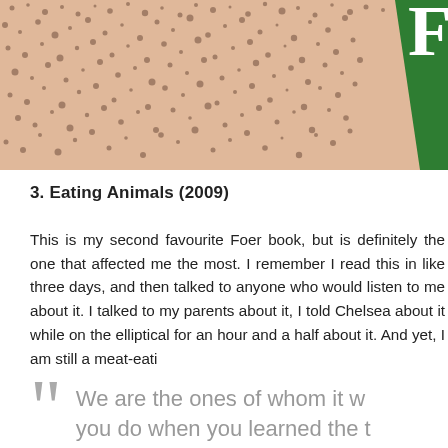[Figure (photo): Close-up photo of a sponge-like porous pink/beige texture filling the top portion of the page, with a green rectangular element visible in the top-right corner.]
3. Eating Animals (2009)
This is my second favourite Foer book, but is definitely the one that affected me the most. I remember I read this in like three days, and then talked to anyone who would listen to me about it. I talked to my parents about it, I told Chelsea about it while on the elliptical for an hour and a half about it. And yet, I am still a meat-eati
We are the ones of whom it w you do when you learned the t